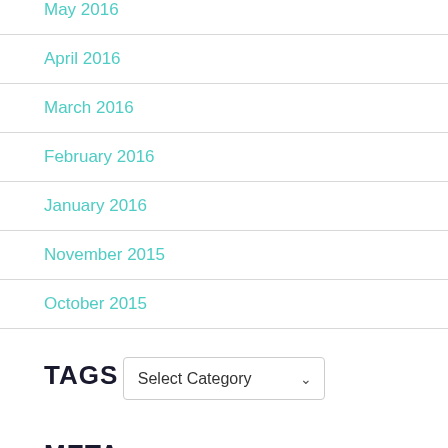May 2016
April 2016
March 2016
February 2016
January 2016
November 2015
October 2015
TAGS
Select Category
META